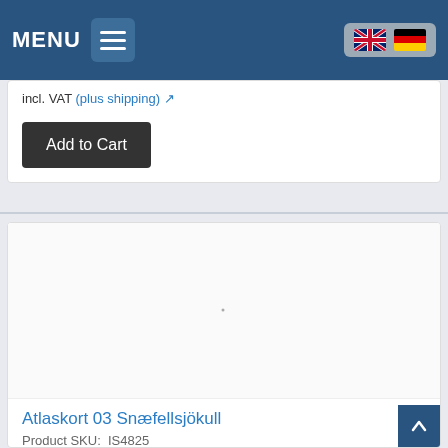MENU
incl. VAT (plus shipping)
Add to Cart
[Figure (screenshot): Empty white product image area for Atlaskort 03 Snæfellsjökull]
Atlaskort 03 Snæfellsjökull
Product SKU:  IS4825
Atlaskort 1:100000 :, Blatt ...